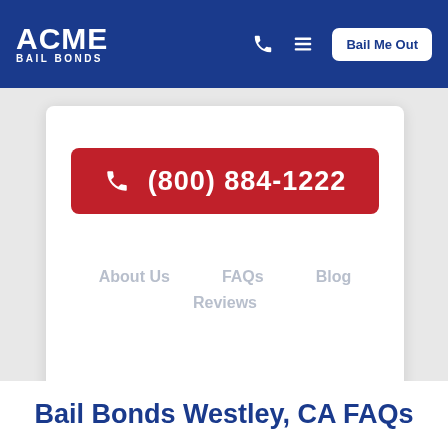ACME BAIL BONDS — navigation bar with phone icon, hamburger menu, and Bail Me Out button
(800) 884-1222
About Us
FAQs
Blog
Reviews
Bail Bonds Westley, CA FAQs